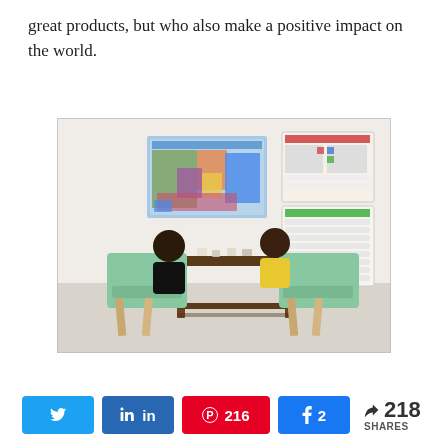great products, but who also make a positive impact on the world.
[Figure (photo): Two young children sitting at a small wooden table with mint green chairs, working on puzzles or activities. On the wall behind them are a colorful US map poster and an educational chart/board.]
Twitter share button, LinkedIn share button, Pinterest 216 share button, Facebook 2 share button, < 218 SHARES